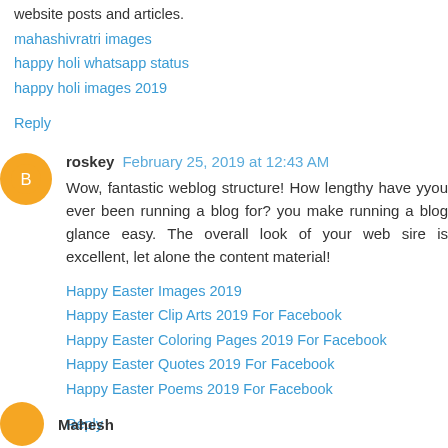website posts and articles.
mahashivratri images
happy holi whatsapp status
happy holi images 2019
Reply
roskey  February 25, 2019 at 12:43 AM
Wow, fantastic weblog structure! How lengthy have yyou ever been running a blog for? you make running a blog glance easy. The overall look of your web sire is excellent, let alone the content material!
Happy Easter Images 2019
Happy Easter Clip Arts 2019 For Facebook
Happy Easter Coloring Pages 2019 For Facebook
Happy Easter Quotes 2019 For Facebook
Happy Easter Poems 2019 For Facebook
Reply
Mahesh  March 13, 2019 at 2:31 AM